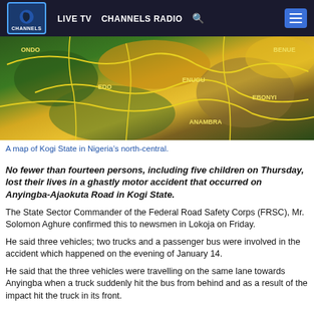LIVE TV  CHANNELS RADIO
[Figure (map): A satellite/terrain map showing Nigerian states including Ondo, Edo, Enugu, Ebonyi, Anambra, and Benue with yellow state boundary lines overlaid.]
A map of Kogi State in Nigeria’s north-central.
No fewer than fourteen persons, including five children on Thursday, lost their lives in a ghastly motor accident that occurred on Anyingba-Ajaokuta Road in Kogi State.
The State Sector Commander of the Federal Road Safety Corps (FRSC), Mr. Solomon Aghure confirmed this to newsmen in Lokoja on Friday.
He said three vehicles; two trucks and a passenger bus were involved in the accident which happened on the evening of January 14.
He said that the three vehicles were travelling on the same lane towards Anyingba when a truck suddenly hit the bus from behind and as a result of the impact hit the truck in its front.